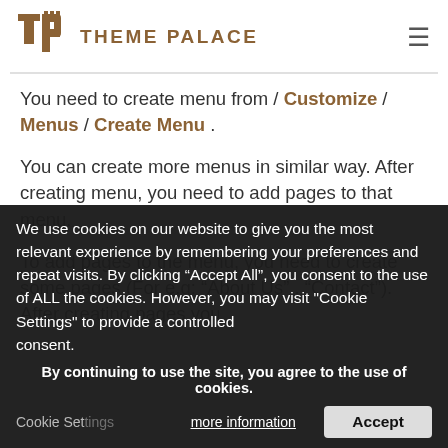THEME PALACE
You need to create menu from / Customize / Menus / Create Menu .
You can create more menus in similar way. After creating menu, you need to add pages to that menu.
To add pages to the menu, you need to create some pages (For e.g: “About Us” . “Contact”). After creating pages you
We use cookies on our website to give you the most relevant experience by remembering your preferences and repeat visits. By clicking “Accept All”, you consent to the use of ALL the cookies. However, you may visit "Cookie Settings" to provide a controlled consent.
By continuing to use the site, you agree to the use of cookies.
more information
Accept